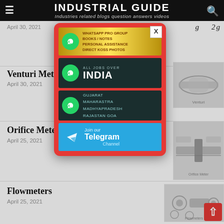INDUSTRIAL GUIDE — Industries related blogs question answers videos
April 30, 2021
[Figure (infographic): Popup advertisement box with red background containing WhatsApp and Telegram social media join banners: WhatsApp Pro Group Books/Notes Personal Assistance Direct KOSS Photos; All Jobs Over India; Gujarat Maharashtra Madhyapradesh Rajastan Goa; Join our Telegram Channel. Close button (X) in top right.]
Venturi Meters
April 30, 2021
[Figure (illustration): Photo of a Venturi meter pipe fitting device]
Orifice Meter
April 25, 2021
[Figure (engineering-diagram): Engineering diagram of an orifice meter cross-section]
Flowmeters
April 25, 2021
[Figure (photo): Photo showing various types of flowmeters]